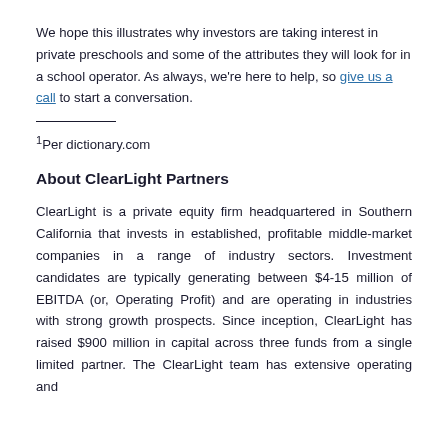We hope this illustrates why investors are taking interest in private preschools and some of the attributes they will look for in a school operator. As always, we're here to help, so give us a call to start a conversation.
1Per dictionary.com
About ClearLight Partners
ClearLight is a private equity firm headquartered in Southern California that invests in established, profitable middle-market companies in a range of industry sectors. Investment candidates are typically generating between $4-15 million of EBITDA (or, Operating Profit) and are operating in industries with strong growth prospects. Since inception, ClearLight has raised $900 million in capital across three funds from a single limited partner. The ClearLight team has extensive operating and